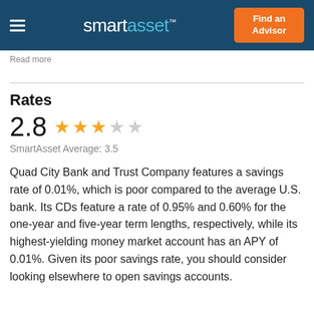smartasset™  Find an Advisor
Read more
Rates
2.8  ★★★☆☆  SmartAsset Average: 3.5
Quad City Bank and Trust Company features a savings rate of 0.01%, which is poor compared to the average U.S. bank. Its CDs feature a rate of 0.95% and 0.60% for the one-year and five-year term lengths, respectively, while its highest-yielding money market account has an APY of 0.01%. Given its poor savings rate, you should consider looking elsewhere to open savings accounts.